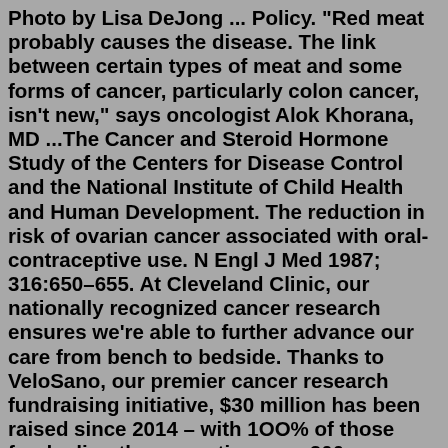Photo by Lisa DeJong ... Policy. "Red meat probably causes the disease. The link between certain types of meat and some forms of cancer, particularly colon cancer, isn't new," says oncologist Alok Khorana, MD ...The Cancer and Steroid Hormone Study of the Centers for Disease Control and the National Institute of Child Health and Human Development. The reduction in risk of ovarian cancer associated with oral-contraceptive use. N Engl J Med 1987; 316:650–655. At Cleveland Clinic, our nationally recognized cancer research ensures we're able to further advance our care from bench to bedside. Thanks to VeloSano, our premier cancer research fundraising initiative, $30 million has been raised since 2014 – with 1OO% of those funds directly supporting over 200 cancer research projects. Cleveland Clinic © 2000-2022. All Rights Reserved. Center for Continuing Education 9500 Euclid Avenue, JJ42 Cleveland, OH 44195What is the breast cancer vaccine trial? This clinical trial is based on two decades of research and laboratory studies by Cleveland Clinic Lerner Research Institute